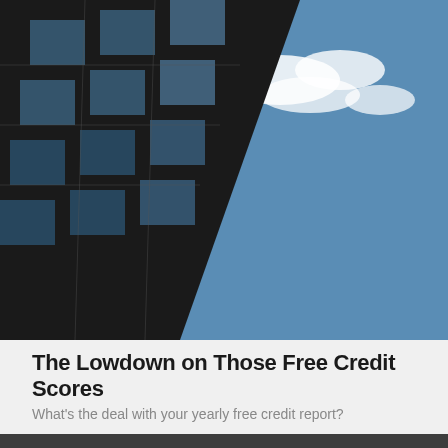[Figure (photo): Low-angle view of a dark glass building with grid windows reflecting a blue sky with white clouds]
The Lowdown on Those Free Credit Scores
What's the deal with your yearly free credit report?
[Figure (photo): Close-up of a tablet or device showing a green screen with partial text 'Yo' visible, set against a blurred outdoor background]
Your Cash Flow Statement
A presentation about managing money: using it, saving it, and even